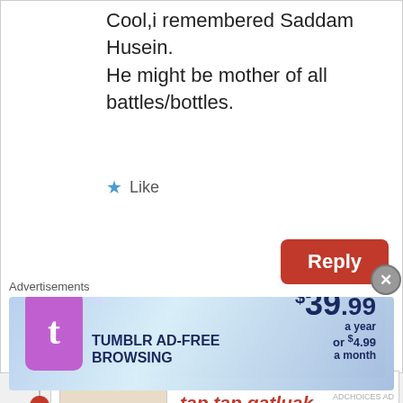Cool,i remembered Saddam Husein. He might be mother of all battles/bottles.
Like
Reply
tap tap gatluak
March 29, 2015 at 3:26 pm
God will hand over the careless people ,depending on your right and the right of your fellow citizens
Advertisements
[Figure (illustration): Tumblr ad-free browsing advertisement banner: $39.99 a year or $4.99 a month, with Tumblr T logo and sparkle effects]